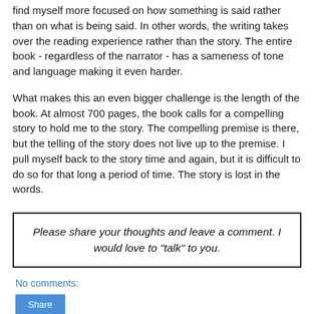find myself more focused on how something is said rather than on what is being said. In other words, the writing takes over the reading experience rather than the story. The entire book - regardless of the narrator - has a sameness of tone and language making it even harder.
What makes this an even bigger challenge is the length of the book. At almost 700 pages, the book calls for a compelling story to hold me to the story. The compelling premise is there, but the telling of the story does not live up to the premise. I pull myself back to the story time and again, but it is difficult to do so for that long a period of time. The story is lost in the words.
Please share your thoughts and leave a comment. I would love to "talk" to you.
No comments:
Share